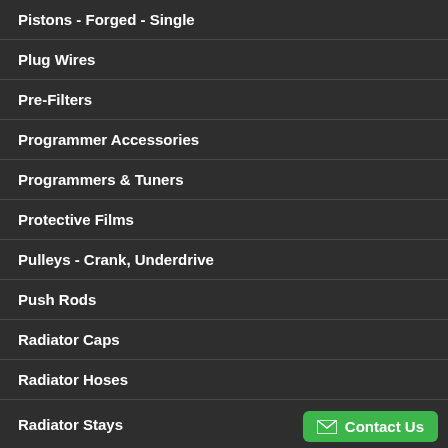Pistons - Forged - Single
Plug Wires
Pre-Filters
Programmer Accessories
Programmers & Tuners
Protective Films
Pulleys - Crank, Underdrive
Push Rods
Radiator Caps
Radiator Hoses
Radiator Stays